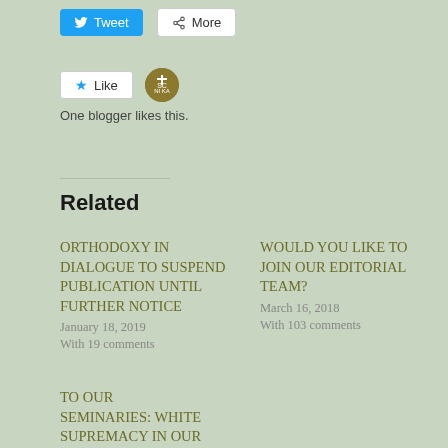[Figure (screenshot): Tweet button (blue) and More button (white) social sharing buttons]
[Figure (screenshot): Like button with star icon and a circular avatar badge icon. Text: One blogger likes this.]
Related
ORTHODOXY IN DIALOGUE TO SUSPEND PUBLICATION UNTIL FURTHER NOTICE
January 18, 2019
With 19 comments
WOULD YOU LIKE TO JOIN OUR EDITORIAL TEAM?
March 16, 2018
With 103 comments
TO OUR SEMINARIES: WHITE SUPREMACY IN OUR MIDST